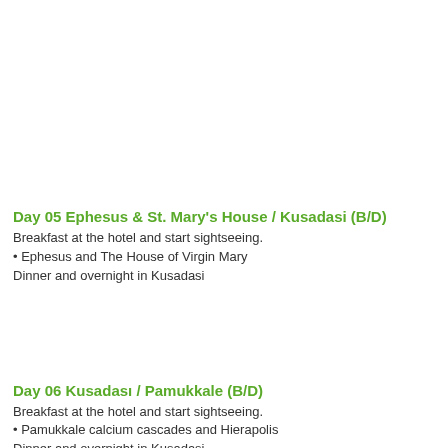Day 05 Ephesus & St. Mary's House / Kusadasi (B/D)
Breakfast at the hotel and start sightseeing.
• Ephesus and The House of Virgin Mary
Dinner and overnight in Kusadasi
Day 06 Kusadası / Pamukkale (B/D)
Breakfast at the hotel and start sightseeing.
• Pamukkale calcium cascades and Hierapolis
Dinner and overnight in Kusadasi
Day 07 Pamukkale / Perge / Antalya (B/D)
Morning drive to Antalya, arrival at mid-noon.